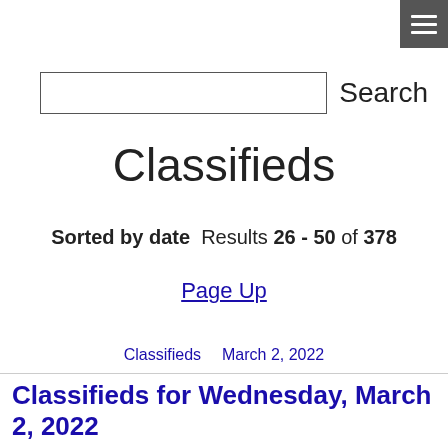[Figure (other): Hamburger menu button (three white lines on grey background) in top-right corner]
Search
Classifieds
Sorted by date  Results 26 - 50 of 378
Page Up
Classifieds   March 2, 2022
Classifieds for Wednesday, March 2, 2022
1 Bedroom Apartment 2 Non-conforming rooms, 1.5 baths, w/d hookups. Tenant pays utilities, except water/garbage. Available March 1, 2022. Call 301-4106 and leave a message, or pick up an